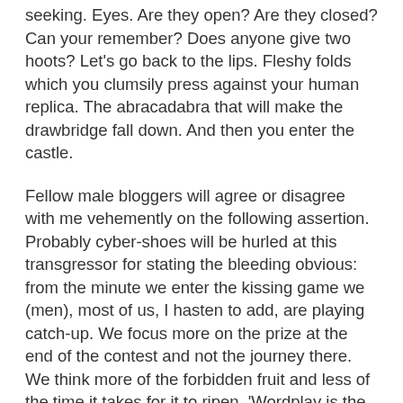seeking. Eyes. Are they open? Are they closed? Can your remember? Does anyone give two hoots? Let's go back to the lips. Fleshy folds which you clumsily press against your human replica. The abracadabra that will make the drawbridge fall down. And then you enter the castle.
Fellow male bloggers will agree or disagree with me vehemently on the following assertion. Probably cyber-shoes will be hurled at this transgressor for stating the bleeding obvious: from the minute we enter the kissing game we (men), most of us, I hasten to add, are playing catch-up. We focus more on the prize at the end of the contest and not the journey there. We think more of the forbidden fruit and less of the time it takes for it to ripen. 'Wordplay is the best foreplay', someone famous said once and in those wise words the term 'kiss' should be inserted somewhere conspicuosly.
But catching up we do and depending on how open-minded with and willing to learn from our other half we are, the results are all the more enjoyable: 'A kiss is still a kiss, a sigh is just a sigh/The fundamental things apply/As time goes by